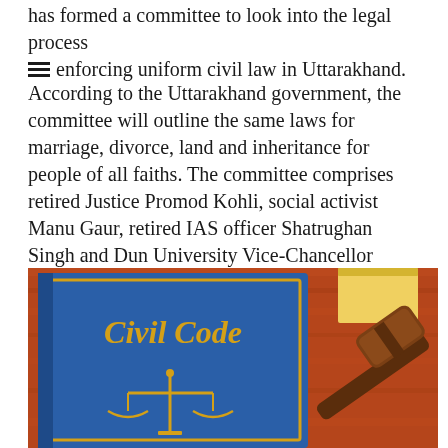has formed a committee to look into the legal process for enforcing uniform civil law in Uttarakhand.
According to the Uttarakhand government, the committee will outline the same laws for marriage, divorce, land and inheritance for people of all faiths. The committee comprises retired Justice Promod Kohli, social activist Manu Gaur, retired IAS officer Shatrughan Singh and Dun University Vice-Chancellor Surekha Dangwal.
[Figure (photo): A blue book titled 'Civil Code' with gold lettering and a scales of justice emblem, placed on a wooden surface next to a judge's gavel, with a yellow sticky note in the background.]